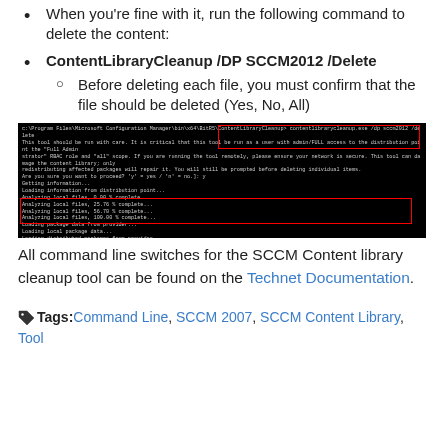When you're fine with it, run the following command to delete the content:
ContentLibraryCleanup /DP SCCM2012 /Delete
Before deleting each file, you must confirm that the file should be deleted (Yes, No, All)
[Figure (screenshot): Terminal/command prompt screenshot showing ContentLibraryCleanup tool running with red highlighted boxes around the command and orphaned content warning messages.]
All command line switches for the SCCM Content library cleanup tool can be found on the Technet Documentation.
Tags: Command Line, SCCM 2007, SCCM Content Library, Tool